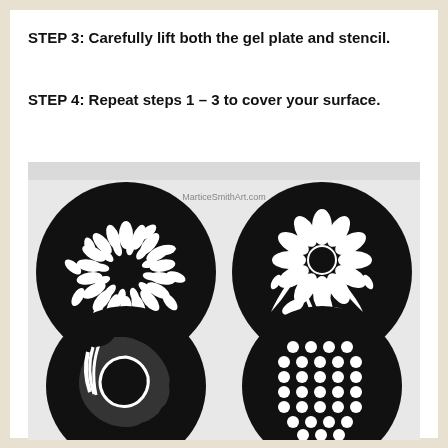STEP 3: Carefully lift both the gel plate and stencil.
STEP 4: Repeat steps 1 – 3 to cover your surface.
[Figure (photo): Black and white gel plate prints showing four circular stencil patterns: top-left is a swirling dahlia/chrysanthemum floral pattern, top-right is a flower with radiating petals and leaves, bottom-left is a spiral/shell abstract pattern, bottom-right is a polka dot circle pattern. Watermark reads MarticeSmithArt.com]